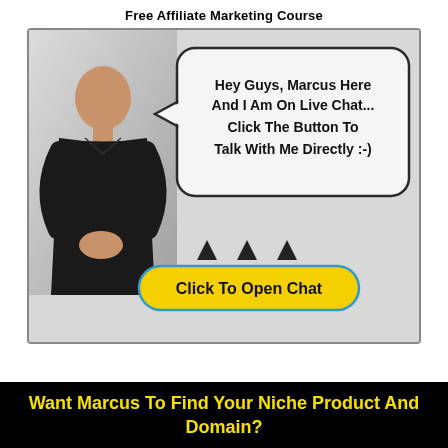Free Affiliate Marketing Course
[Figure (illustration): A person (Marcus) in a black shirt with a speech bubble saying 'Hey Guys, Marcus Here And I Am On Live Chat... Click The Button To Talk With Me Directly :-)' and a yellow 'Click To Open Chat' button below with three downward arrows pointing to it.]
Want Marcus To Find Your Niche Product And Domain?